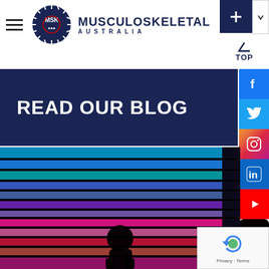MUSCULOSKELETAL AUSTRALIA
READ OUR BLOG
[Figure (logo): MSK Musculoskeletal Australia circular logo with dark navy background and sunburst border]
[Figure (photo): Silhouette of a person standing in front of illuminated colorful staircase with blue, purple and pink neon lights]
[Figure (infographic): Social media icon sidebar with Facebook, Twitter, Instagram, LinkedIn, YouTube, TikTok buttons]
Privacy · Terms